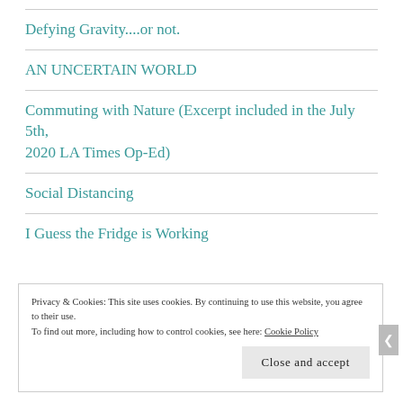Defying Gravity....or not.
AN UNCERTAIN WORLD
Commuting with Nature (Excerpt included in the July 5th, 2020 LA Times Op-Ed)
Social Distancing
I Guess the Fridge is Working
Privacy & Cookies: This site uses cookies. By continuing to use this website, you agree to their use. To find out more, including how to control cookies, see here: Cookie Policy
Close and accept